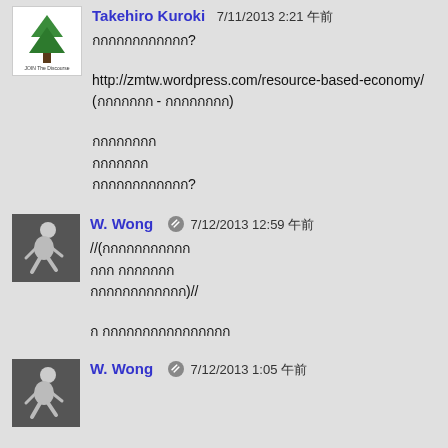[Figure (photo): Avatar for Takehiro Kuroki - green tree logo on white background with small text]
Takehiro Kuroki  7/11/2013 2:21 午前
กกกกกกกกกกกก?
http://zmtw.wordpress.com/resource-based-economy/
(กกกกกกก - กกกกกกกก)
กกกกกกกก
กกกกกกก
กกกกกกกกกกกก?
[Figure (photo): Avatar for W. Wong - person crouching, dark background]
W. Wong  7/12/2013 12:59 午前
//(กกกกกกกกกกก
กกก กกกกกกก
กกกกกกกกกกกก)//
ก กกกกกกกกกกกกกกกก
[Figure (photo): Avatar for W. Wong - person crouching, dark background]
W. Wong  7/12/2013 1:05 午前